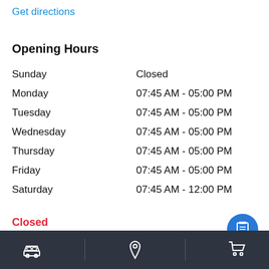Get directions
Opening Hours
| Day | Hours |
| --- | --- |
| Sunday | Closed |
| Monday | 07:45 AM - 05:00 PM |
| Tuesday | 07:45 AM - 05:00 PM |
| Wednesday | 07:45 AM - 05:00 PM |
| Thursday | 07:45 AM - 05:00 PM |
| Friday | 07:45 AM - 05:00 PM |
| Saturday | 07:45 AM - 12:00 PM |
Closed
Navigation bar with car, location pin, and cart icons